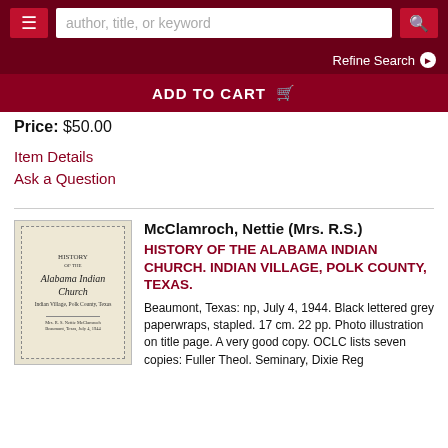author, title, or keyword | Refine Search
ADD TO CART
Price: $50.00
Item Details
Ask a Question
McClamroch, Nettie (Mrs. R.S.) HISTORY OF THE ALABAMA INDIAN CHURCH. INDIAN VILLAGE, POLK COUNTY, TEXAS. Beaumont, Texas: np, July 4, 1944. Black lettered grey paperwraps, stapled. 17 cm. 22 pp. Photo illustration on title page. A very good copy. OCLC lists seven copies: Fuller Theol. Seminary, Dixie Reg
[Figure (illustration): Book cover of 'History of the Alabama Indian Church' with dotted border frame showing the title in italic script font and subtitle 'Indian Village, Polk County, Texas', with author information at the bottom.]